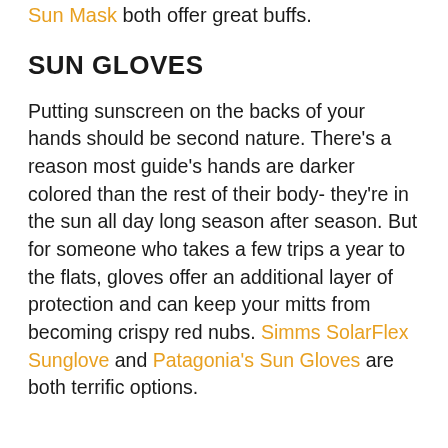Sun Mask both offer great buffs.
SUN GLOVES
Putting sunscreen on the backs of your hands should be second nature. There’s a reason most guide’s hands are darker colored than the rest of their body- they’re in the sun all day long season after season. But for someone who takes a few trips a year to the flats, gloves offer an additional layer of protection and can keep your mitts from becoming crispy red nubs. Simms SolarFlex Sunglove and Patagonia's Sun Gloves are both terrific options.